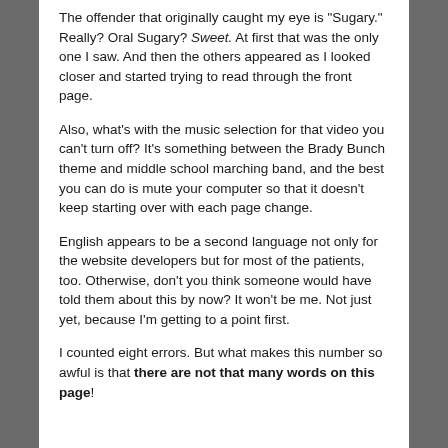The offender that originally caught my eye is "Sugary." Really? Oral Sugary? Sweet. At first that was the only one I saw. And then the others appeared as I looked closer and started trying to read through the front page.
Also, what's with the music selection for that video you can't turn off? It's something between the Brady Bunch theme and middle school marching band, and the best you can do is mute your computer so that it doesn't keep starting over with each page change.
English appears to be a second language not only for the website developers but for most of the patients, too. Otherwise, don't you think someone would have told them about this by now? It won't be me. Not just yet, because I'm getting to a point first.
I counted eight errors. But what makes this number so awful is that there are not that many words on this page!